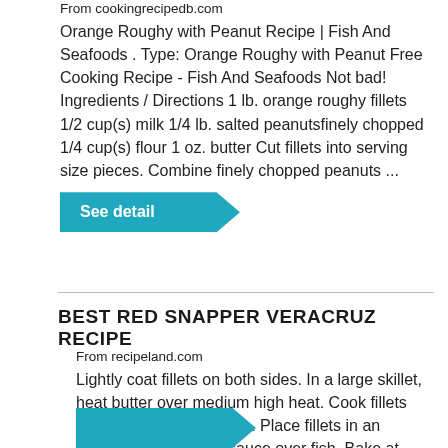From cookingrecipedb.com
Orange Roughy with Peanut Recipe | Fish And Seafoods . Type: Orange Roughy with Peanut Free Cooking Recipe - Fish And Seafoods Not bad! Ingredients / Directions 1 lb. orange roughy fillets 1/2 cup(s) milk 1/4 lb. salted peanutsfinely chopped 1/4 cup(s) flour 1 oz. butter Cut fillets into serving size pieces. Combine finely chopped peanuts ...
See detail
BEST RED SNAPPER VERACRUZ RECIPE
From recipeland.com
Lightly coat fillets on both sides. In a large skillet, heat butter over medium high heat. Cook fillets about 3 minutes per side. Place fillets in an ovenproof dish. Pour sauce over fish. Bake at 325°F (160°C) for 10 to 15 minutes. Email. Add Photo. Cookbook.
See detail